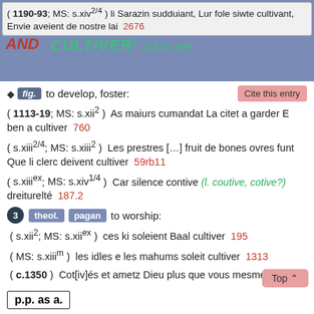( 1190-93; MS: s.xiv^{2/4} ) li Sarazin sudduiant, Lur fole siwte cultivant, Envie aveient de nostre lai  2676
fig.  to develop, foster:
Cite this entry
( 1113-19; MS: s.xii^2 )  As maiurs cumandat La citet a garder E ben a cultiver  760
( s.xiii^{2/4}; MS: s.xiii^2 )  Les prestres [...] fruit de bones ovres funt Que li clerc deivent cultiver  59rb11
( s.xiii^{ex}; MS: s.xiv^{1/4} )  Car silence contive (l. coutive, cotive?) dreiturelté  187.2
3  theol.  pagan  to worship:
( s.xii^2; MS: s.xii^{ex} )  ces ki soleient Baal cultiver  195
( MS: s.xiii^m )  les idles e les mahums soleit cultiver  1313
( c.1350 )  Cot[iv]és et ametz Dieu plus que vous mesmes  95
p.p. as a.
cultivated:
( MS: s.xii/xiii )  squalidi: (O) ben cutifiez (var. cotefeys,